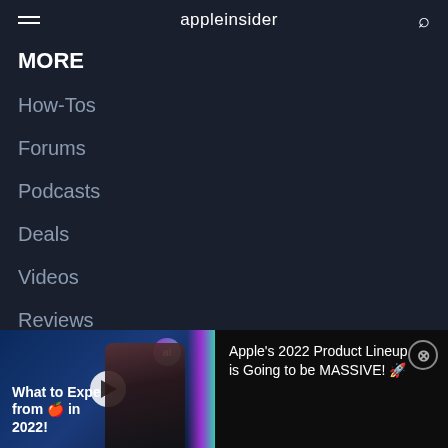appleinsider
MORE
How-Tos
Forums
Podcasts
Deals
Videos
Reviews
Contact Us
[Figure (screenshot): Video thumbnail showing a man with text 'What to Expect from Apple in 2022!' with a play button overlay and ai badge]
Apple's 2022 Product Lineup is Going to be MASSIVE! 🚀